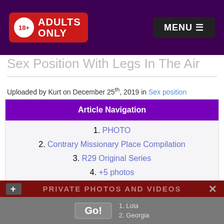18+ ADULTS ONLY | MENU
Sex Position With Legs In The Air
Uploaded by Kurt on December 25th, 2019 in Sex position
Article Navigation
1. PHOTO
2. Contrary Missionary Place Compilation
3. R29 Original Series
4. +5 photos
5. Comments (4)
PRIVATE PHOTOS AND VIDEOS
TOP BABES
1. Lola
2. Georgia